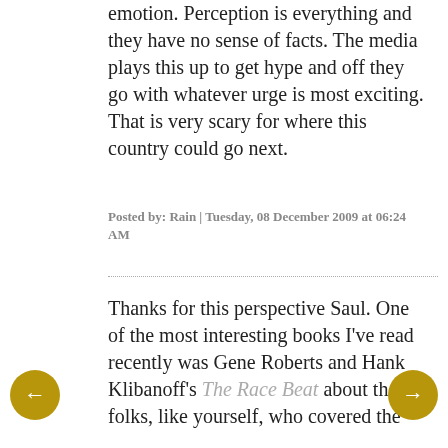emotion. Perception is everything and they have no sense of facts. The media plays this up to get hype and off they go with whatever urge is most exciting. That is very scary for where this country could go next.
Posted by: Rain | Tuesday, 08 December 2009 at 06:24 AM
Thanks for this perspective Saul. One of the most interesting books I've read recently was Gene Roberts and Hank Klibanoff's The Race Beat about the folks, like yourself, who covered the